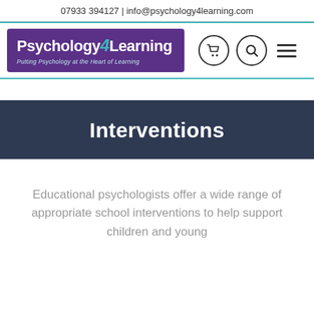07933 394127 | info@psychology4learning.com
[Figure (logo): Psychology4Learning logo with purple background and teal/white text, tagline: Putting Psychology at the Heart of Learning, with shopping cart icon, search icon, and hamburger menu]
Interventions
Educational psychologists offer a wide range of appropriate school interventions to help support children and young